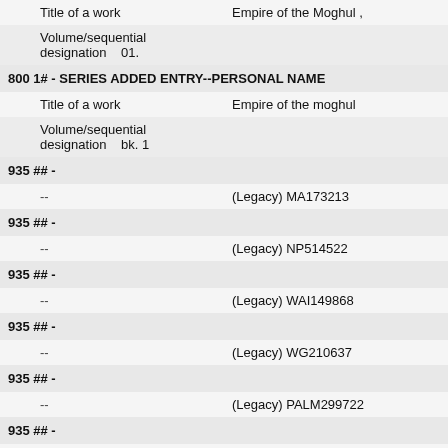| Title of a work | Empire of the Moghul , |
| Volume/sequential designation | 01. |
| 800 1# - SERIES ADDED ENTRY--PERSONAL NAME |  |
| Title of a work | Empire of the moghul |
| Volume/sequential designation | bk. 1 |
| 935 ## - |  |
| -- | (Legacy) MA173213 |
| 935 ## - |  |
| -- | (Legacy) NP514522 |
| 935 ## - |  |
| -- | (Legacy) WAI149868 |
| 935 ## - |  |
| -- | (Legacy) WG210637 |
| 935 ## - |  |
| -- | (Legacy) PALM299722 |
| 935 ## - |  |
| -- | (Legacy) LIH194873 |